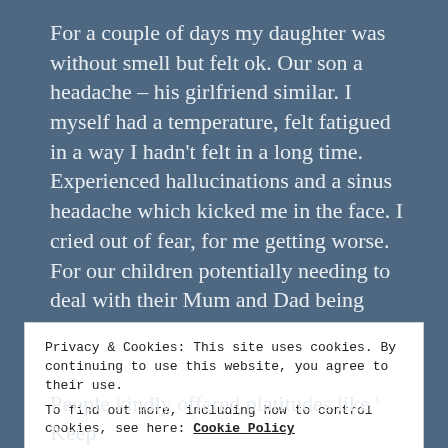For a couple of days my daughter was without smell but felt ok. Our son a headache – his girlfriend similar. I myself had a temperature, felt fatigued in a way I hadn't felt in a long time. Experienced hallucinations and a sinus headache which kicked me in the face. I cried out of fear, for me getting worse. For our children potentially needing to deal with their Mum and Dad being poorly. It was too much.
Privacy & Cookies: This site uses cookies. By continuing to use this website, you agree to their use.
To find out more, including how to control cookies, see here: Cookie Policy
Close and accept
People kindly offered platitudes like ' Keep